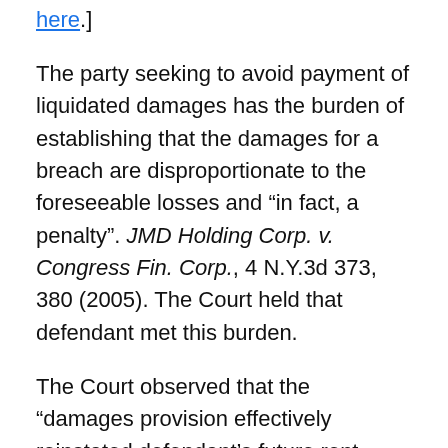here.]
The party seeking to avoid payment of liquidated damages has the burden of establishing that the damages for a breach are disproportionate to the foreseeable losses and “in fact, a penalty”. JMD Holding Corp. v. Congress Fin. Corp., 4 N.Y.3d 373, 380 (2005). The Court held that defendant met this burden.
The Court observed that the “damages provision effectively reinstated defendant’s future rent liabilities under the terminated lease, to the tune of $1,020,125.15, plus interest and other prospective taxes and costs due under the lease, even though